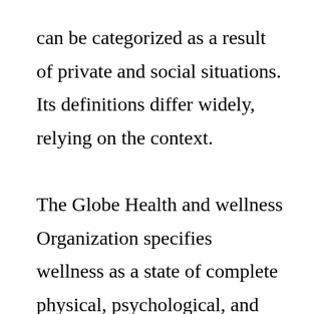can be categorized as a result of private and social situations. Its definitions differ widely, relying on the context.

The Globe Health and wellness Organization specifies wellness as a state of complete physical, psychological, and also social well-being. It is the absence of disease. It additionally highlights social well-being. It encourages the use of condoms and inoculations. The prevention of transmittable diseases consists of staying clear of succeeded